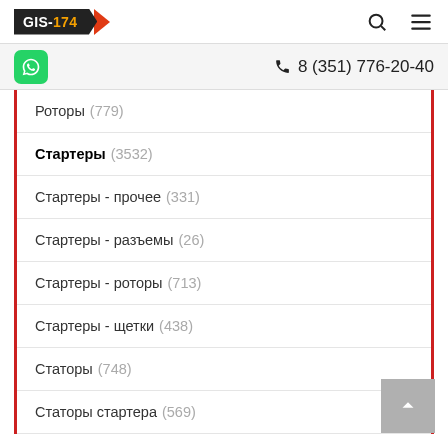GIS-174 navigation bar with search and menu icons
8 (351) 776-20-40
Роторы (779)
Стартеры (3532)
Стартеры - прочее (331)
Стартеры - разъемы (26)
Стартеры - роторы (713)
Стартеры - щетки (438)
Статоры (748)
Статоры стартера (569)